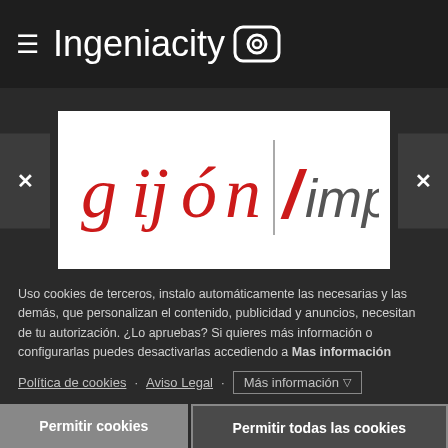≡ Ingeniacity [camera icon]
[Figure (logo): Gijón Impulsa logo — red stylized 'gijón' text with vertical divider and red/grey 'impulsa' text]
Uso cookies de terceros, instalo automáticamente las necesarias y las demás, que personalizan el contenido, publicidad y anuncios, necesitan de tu autorización. ¿Lo apruebas? Si quieres más información o configurarlas puedes desactivarlas accediendo a Mas información
Política de cookies · Aviso Legal · Más información ▽
Permitir cookies | Permitir todas las cookies
Rechazar